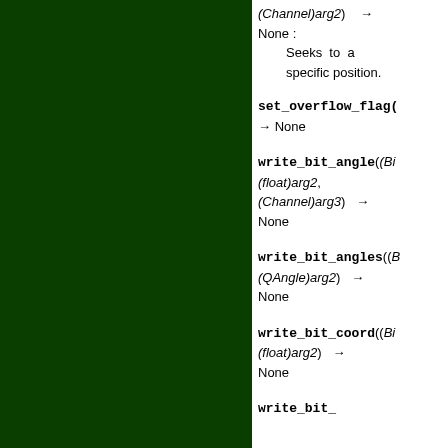(Channel)arg2) → None : Seeks to a specific position.
set_overflow_flag( → None
write_bit_angle((Bi (float)arg2, (Channel)arg3) → None
write_bit_angles((B (QAngle)arg2) → None
write_bit_coord((Bi (float)arg2) → None
write_bit_...